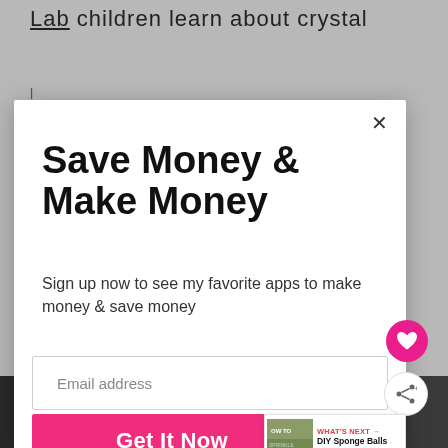Lab children learn about crystal
[Figure (screenshot): Website modal popup with 'Save Money & Make Money' headline, email signup form with 'Email address' placeholder, pink 'Get It Now' button, heart and share social icons, and 'WHAT'S NEXT: DIY Sponge Balls For...' thumbnail banner]
Save Money & Make Money
Sign up now to see my favorite apps to make money & save money
Email address
Get It Now
WHAT'S NEXT → DIY Sponge Balls For...
[Figure (screenshot): Bottom advertisement bar with #FlattenTheCurve text on dark background and washing hands image, with 'w°' logo on the right]